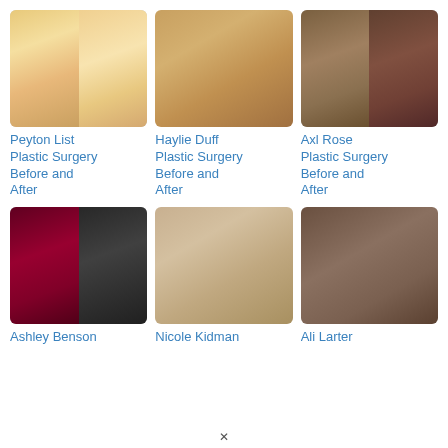[Figure (photo): Peyton List before and after plastic surgery collage - two blonde women]
Peyton List Plastic Surgery Before and After
[Figure (photo): Haylie Duff before and after plastic surgery - smiling brunette woman]
Haylie Duff Plastic Surgery Before and After
[Figure (photo): Axl Rose before and after plastic surgery - two photos of male rock musician]
Axl Rose Plastic Surgery Before and After
[Figure (photo): Ashley Benson before and after plastic surgery collage - two blonde women]
Ashley Benson
[Figure (photo): Nicole Kidman before and after plastic surgery - woman with curly blonde hair]
Nicole Kidman
[Figure (photo): Ali Larter before and after plastic surgery - blonde woman in black turtleneck]
Ali Larter